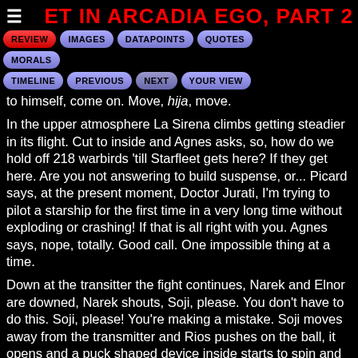ET IN ARCADIA EGO, PART 2
[Figure (screenshot): Navigation button bar with buttons: REVIEW (active/red), IMAGES, DATAPOINTS, QUOTES, MORALS, TIMELINE, PREVIOUS, NEXT, YOUR VIEW]
to himself, come on. Move, hija, move.
In the upper atmosphere La Sirena climbs getting steadier in its flight. Cut to inside and Agnes asks, so, how do we hold off 218 warbirds 'till Starfleet gets here? If they get here. Are you not answering to build suspense, or... Picard says, at the present moment, Doctor Jurati, I'm trying to pilot a starship for the first time in a very long time without exploding or crashing! If that is all right with you. Agnes says, nope, totally. Good call. One impossible thing at a time.
Down at the transitter the fight continues, Narek and Elnor are downed, Narek shouts, Soji, please. You don't have to do this. Soji, please! You're making a mistake. Soji moves away from the transmitter and Rios pushes on the ball, it opens and a puck shaped device inside starts to spin and flies towards the transmitter. Soji catches it as it passes her. She stares at it for a moment and then throws it into the sky where it explodes. She returns to the transmitter and starts adjusting it again.